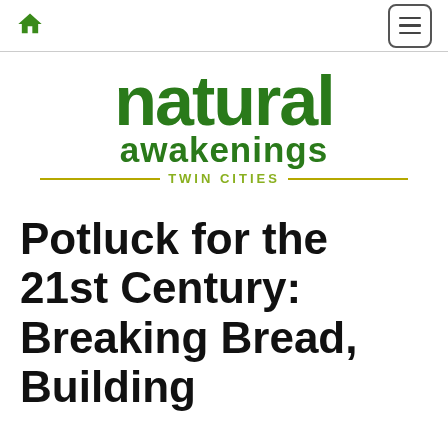Natural Awakenings Twin Cities
[Figure (logo): Natural Awakenings Twin Cities logo — large green 'natural' text with leaf detail, below it 'awakenings' in dark green, and 'TWIN CITIES' in olive/yellow-green with decorative horizontal lines on either side.]
Potluck for the 21st Century: Breaking Bread, Building